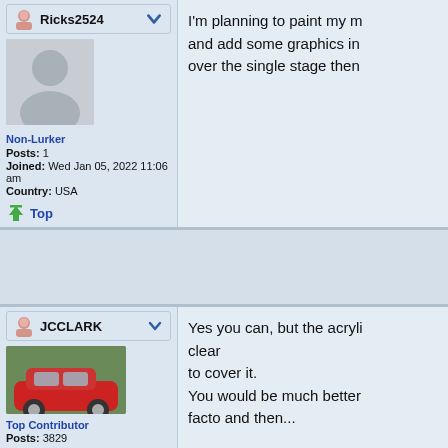Ricks2524
Non-Lurker
Posts: 1
Joined: Wed Jan 05, 2022 11:06 am
Country: USA
Top
I'm planning to paint my m and add some graphics in over the single stage then
JCCLARK
Top Contributor
Posts: 3829
Yes you can, but the acryli clear to cover it.
You would be much better facto and then...